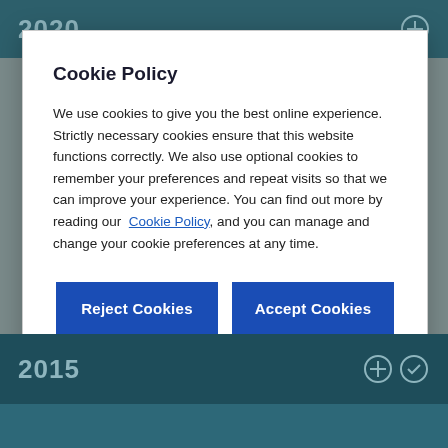Cookie Policy
We use cookies to give you the best online experience. Strictly necessary cookies ensure that this website functions correctly. We also use optional cookies to remember your preferences and repeat visits so that we can improve your experience. You can find out more by reading our Cookie Policy, and you can manage and change your cookie preferences at any time.
Reject Cookies
Accept Cookies
Cookies Settings